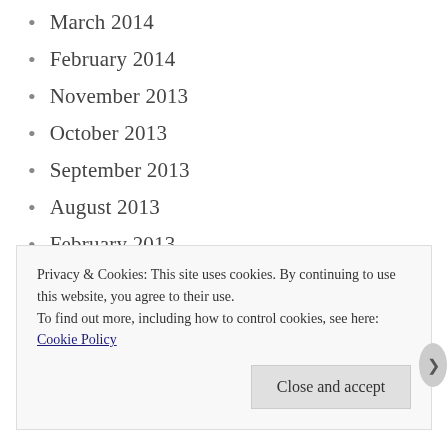March 2014
February 2014
November 2013
October 2013
September 2013
August 2013
February 2013
January 2013
December 2012
November 2012
October 2012
Privacy & Cookies: This site uses cookies. By continuing to use this website, you agree to their use. To find out more, including how to control cookies, see here: Cookie Policy
Close and accept